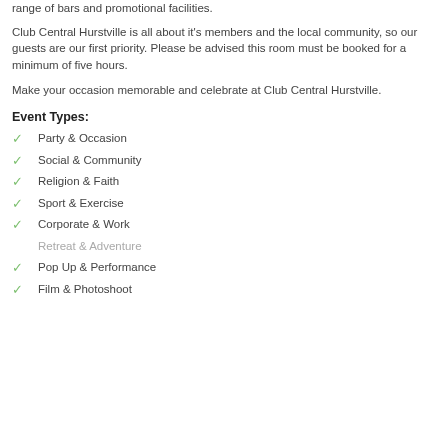range of bars and promotional facilities.
Club Central Hurstville is all about it's members and the local community, so our guests are our first priority. Please be advised this room must be booked for a minimum of five hours.
Make your occasion memorable and celebrate at Club Central Hurstville.
Event Types:
Party & Occasion
Social & Community
Religion & Faith
Sport & Exercise
Corporate & Work
Retreat & Adventure
Pop Up & Performance
Film & Photoshoot